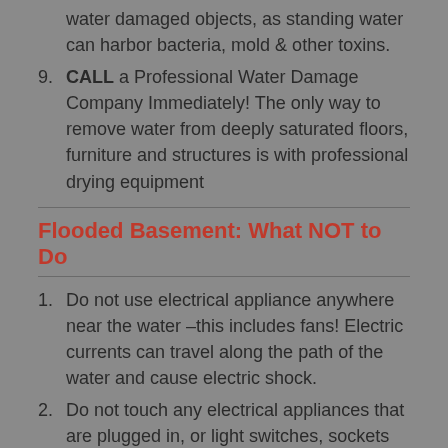water damaged objects, as standing water can harbor bacteria, mold & other toxins.
9. CALL a Professional Water Damage Company Immediately! The only way to remove water from deeply saturated floors, furniture and structures is with professional drying equipment
Flooded Basement: What NOT to Do
1. Do not use electrical appliance anywhere near the water –this includes fans! Electric currents can travel along the path of the water and cause electric shock.
2. Do not touch any electrical appliances that are plugged in, or light switches, sockets or outlets. This includes NOT using your vacuum and NOT using your ceiling fan in the flooded or wet area!
3. Keep children and pets away from the flooded area.
4. Do not touch objects that look damaged or wet.